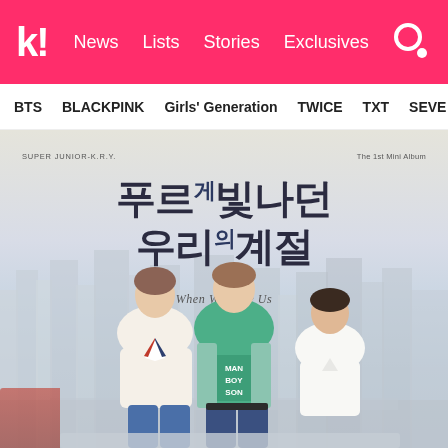k! News Lists Stories Exclusives
BTS BLACKPINK Girls' Generation TWICE TXT SEVE
[Figure (photo): Super Junior-K.R.Y. 1st Mini Album 'When We Were Us' (푸르게 빛나던 우리의 계절) album cover featuring three male K-pop artists standing on a rooftop with a city skyline background]
SUPER JUNIOR-K.R.Y. The 1st Mini Album — 푸르게 빛나던 우리의 계절 / When We Were Us